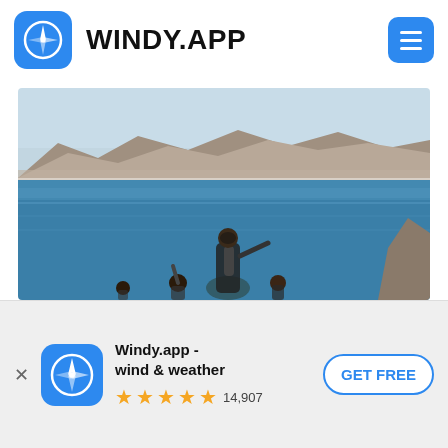[Figure (logo): Windy.app logo icon — white wind/compass rose on blue rounded square background]
WINDY.APP
[Figure (photo): Outdoor coastal photograph showing divers or people in wetsuits in blue sea water with mountains and a coastline city in the background under a hazy sky]
[Figure (logo): Windy.app small icon — white wind/compass rose on blue rounded square background]
Windy.app - wind & weather
★★★★★ 14,907
GET FREE